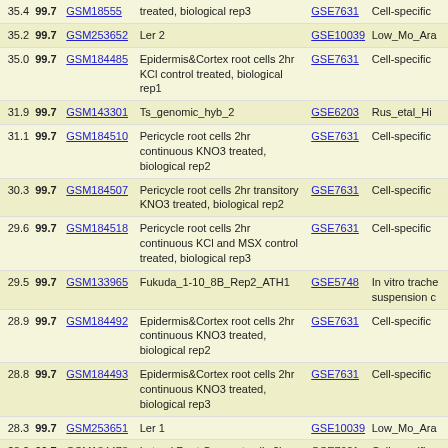| Score | Pct | GSM | Description | GSE | Series |
| --- | --- | --- | --- | --- | --- |
| 35.4 | 99.7 | GSM18555 | treated, biological rep3 | GSE7631 | Cell-specific |
| 35.2 | 99.7 | GSM253652 | Ler 2 | GSE10039 | Low_Mo_Ara |
| 35.0 | 99.7 | GSM184485 | Epidermis&Cortex root cells 2hr KCl control treated, biological rep1 | GSE7631 | Cell-specific |
| 31.9 | 99.7 | GSM143301 | Ts_genomic_hyb_2 | GSE6203 | Rus_etal_Hi |
| 31.1 | 99.7 | GSM184510 | Pericycle root cells 2hr continuous KNO3 treated, biological rep2 | GSE7631 | Cell-specific |
| 30.3 | 99.7 | GSM184507 | Pericycle root cells 2hr transitory KNO3 treated, biological rep2 | GSE7631 | Cell-specific |
| 29.6 | 99.7 | GSM184518 | Pericycle root cells 2hr continuous KCl and MSX control treated, biological rep3 | GSE7631 | Cell-specific |
| 29.5 | 99.7 | GSM133965 | Fukuda_1-10_8B_Rep2_ATH1 | GSE5748 | In vitro trache suspension c |
| 28.9 | 99.7 | GSM184492 | Epidermis&Cortex root cells 2hr continuous KNO3 treated, biological rep2 | GSE7631 | Cell-specific |
| 28.8 | 99.7 | GSM184493 | Epidermis&Cortex root cells 2hr continuous KNO3 treated, biological rep3 | GSE7631 | Cell-specific |
| 28.3 | 99.7 | GSM253651 | Ler 1 | GSE10039 | Low_Mo_Ara |
| 28.2 | 99.7 | GSM184478 | Lateral Root Cap root cells 2hr KCl control treated, biological rep3 | GSE7631 | Cell-specific |
| 27.7 | 99.7 | GSM226530 | LCOLUMELLASB | GSE8934 | A high resolu expression p |
| 27.4 | 99.7 | GSM184479 | Lateral Root Cap root cells 2hr transitory KNO3 treated, biological rep1 | GSE7631 | Cell-specific |
| 27.2 | 99.7 | GSM184511 | Pericycle root cells 2hr continuous KNO3 treated, biological rep3 | GSE7631 | Cell-specific |
| 26.7 | 99.7 | GSM218594 | Whole roots 3.5hr KNO3 treated then frozen, biological rep1 | GSE7631 | Cell-specific |
| 25.3 | 99.6 | GSM133964 | Fukuda_1-9_8A_Rep1_ATH1 | GSE5748 | In vitro trache suspension c |
| 24.8 | 99.6 | GSM184520 | Pericycle root cells 2hr continuous KNO3 and MSX treated, biological rep2 | GSE7631 | Cell-specific |
| 22.5 | 99.6 | GSM184533 | Protoplasted root cells 2hr KCl control treated, biological rep2 | GSE7631 | Cell-specific |